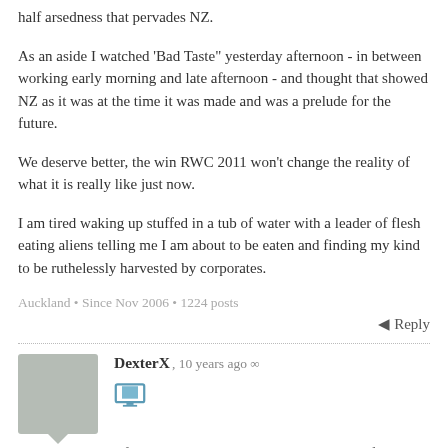half arsedness that pervades NZ.
As an aside I watched 'Bad Taste" yesterday afternoon - in between working early morning and late afternoon - and thought that showed NZ as it was at the time it was made and was a prelude for the future.
We deserve better, the win RWC 2011 won't change the reality of what it is really like just now.
I am tired waking up stuffed in a tub of water with a leader of flesh eating aliens telling me I am about to be eaten and finding my kind to be ruthelessly harvested by corporates.
Auckland • Since Nov 2006 • 1224 posts
Reply
DexterX, 10 years ago ∞
On the game itself - although I am glad we won, it did not feel like we were watching a victory. When